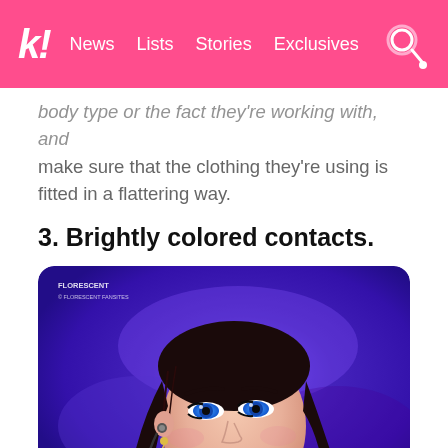K! | News | Lists | Stories | Exclusives
body type or the fact they're working with, and make sure that the clothing they're using is fitted in a flattering way.
3. Brightly colored contacts.
[Figure (photo): Close-up photo of a young woman with blue colored contact lenses, dark hair, heavy eye makeup, wearing earrings and an in-ear monitor, looking upward against a blue/purple stage background. Watermark reads FLORESCENT.]